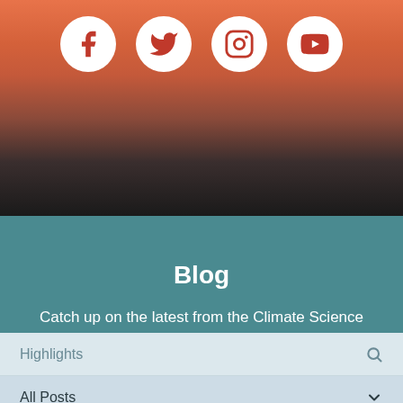[Figure (illustration): Banner image with sunset/dusk sky gradient from orange to dark, with four social media icons (Facebook, Twitter, Instagram, YouTube) displayed as white circles with red icons]
Blog
Catch up on the latest from the Climate Science Alliance team and partners! Explore by category or search for a keyword below.
Highlights
All Posts